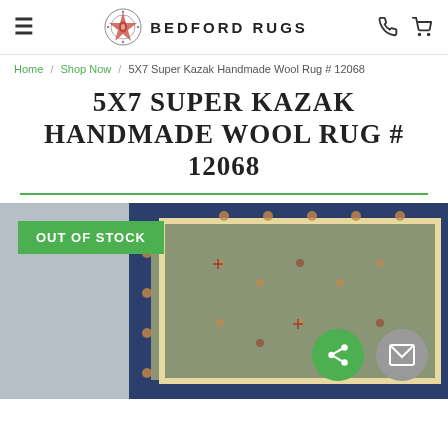BEDFORD RUGS
Home / Shop Now / 5X7 Super Kazak Handmade Wool Rug # 12068
5X7 SUPER KAZAK HANDMADE WOOL RUG # 12068
[Figure (photo): Photo of a Super Kazak handmade wool rug with dark navy border and floral geometric patterns, shown on a grey floor. An 'OUT OF STOCK' green badge overlays the top-left. Two circular buttons (share and email) appear at bottom right.]